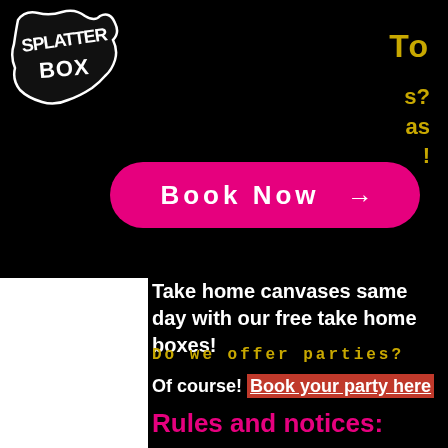[Figure (logo): Splatter Box graffiti-style logo in white on black background]
To
s?
as
!
[Figure (other): Magenta/pink rounded rectangle button with text 'Book Now' and arrow]
Take home canvases same day with our free take home boxes!
Do we offer parties?
Of course! Book your party here
Rules and notices:
Responsible adult must be in attendance at all times
Closed toed shoes required
Paint is Tempera certified Non-toxic and conforms to Conforms to ASTM D-4236 regulations and is AP certified